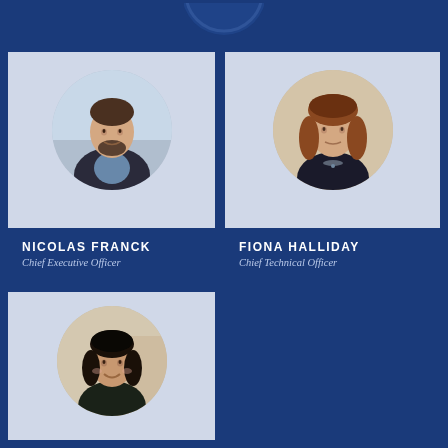[Figure (photo): Circular portrait photo of Nicolas Franck, a man with dark curly hair and beard wearing a dark suit, against an outdoor background]
NICOLAS FRANCK
Chief Executive Officer
[Figure (photo): Circular portrait photo of Fiona Halliday, a woman with shoulder-length auburn hair wearing a dark top with a necklace, against an indoor background]
FIONA HALLIDAY
Chief Technical Officer
[Figure (photo): Circular portrait photo of a smiling woman with dark shoulder-length hair wearing a dark top, against an indoor background]